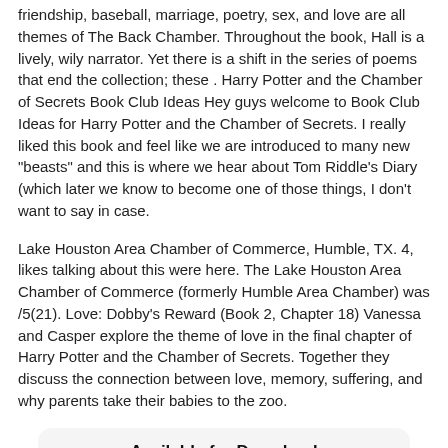friendship, baseball, marriage, poetry, sex, and love are all themes of The Back Chamber. Throughout the book, Hall is a lively, wily narrator. Yet there is a shift in the series of poems that end the collection; these . Harry Potter and the Chamber of Secrets Book Club Ideas Hey guys welcome to Book Club Ideas for Harry Potter and the Chamber of Secrets. I really liked this book and feel like we are introduced to many new "beasts" and this is where we hear about Tom Riddle's Diary (which later we know to become one of those things, I don't want to say in case.
Lake Houston Area Chamber of Commerce, Humble, TX. 4, likes talking about this were here. The Lake Houston Area Chamber of Commerce (formerly Humble Area Chamber) was /5(21). Love: Dobby's Reward (Book 2, Chapter 18) Vanessa and Casper explore the theme of love in the final chapter of Harry Potter and the Chamber of Secrets. Together they discuss the connection between love, memory, suffering, and why parents take their babies to the zoo.
[Figure (infographic): A rounded box labeled 'Available for Download' with three buttons: Download PDF, Download EPUB, Download FB2]